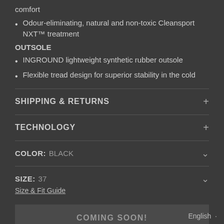comfort
Odour-eliminating, natural and non-toxic Cleansport NXT™ treatment
OUTSOLE
INGROUND lightweight synthetic rubber outsole
Flexible tread design for superior stability in the cold
SHIPPING & RETURNS
TECHNOLOGY
COLOR: BLACK
SIZE: 37
Size & Fit Guide
COMING SOON!
English ·